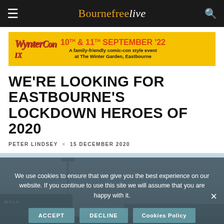Bournefreelive
[Figure (illustration): WynterCon IX advertisement banner: yellow background with red comic-style logo text 'WynterCon IX', orange/red text '10TH & 11TH SEPTEMBER 22', subtitle 'A family-friendly comic-con style event at The Winter Garden, Eastbourne']
WE'RE LOOKING FOR EASTBOURNE'S LOCKDOWN HEROES OF 2020
PETER LINDSEY × 15 DECEMBER 2020
[Figure (photo): Photograph of Eastbourne seafront/pier area with a light pole, buildings, and skyline visible against a light blue sky]
We use cookies to ensure that we give you the best experience on our website. If you continue to use this site we will assume that you are happy with it.